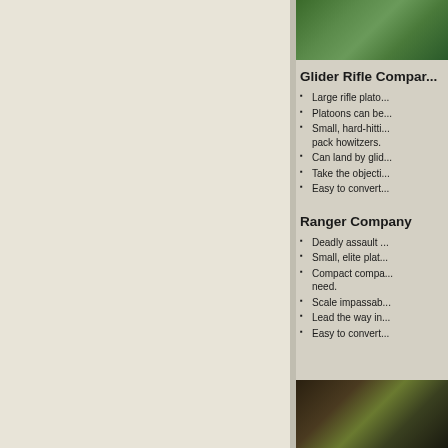[Figure (photo): Photograph of green foliage/trees from above]
Glider Rifle Company
Large rifle plato...
Platoons can be...
Small, hard-hitti... pack howitzers.
Can land by glid...
Take the objecti...
Easy to convert...
Ranger Company
Deadly assault ...
Small, elite plat...
Compact compa... need.
Scale impassab...
Lead the way in...
Easy to convert...
[Figure (photo): Photograph of soldiers or figures in field/terrain setting]